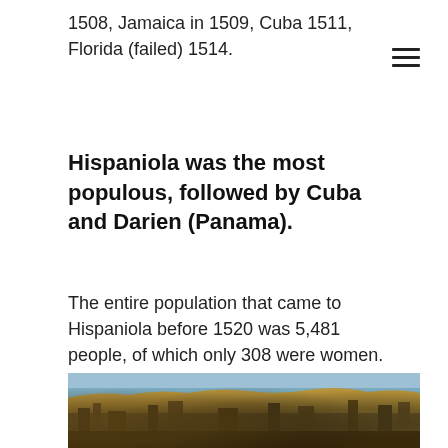1508, Jamaica in 1509, Cuba 1511, Florida (failed) 1514.
Hispaniola was the most populous, followed by Cuba and Darien (Panama).
The entire population that came to Hispaniola before 1520 was 5,481 people, of which only 308 were women. In 1499, a fleet of thirty ships brought 2,500 settlers to Hispaniola. The entire European population in the Caribbean by 1519 was approximately 27,000.
[Figure (photo): Historical photograph showing a scene with ships or ruins, appearing to depict a colonial-era setting with blue sky and ruins or wooden structures at the bottom.]